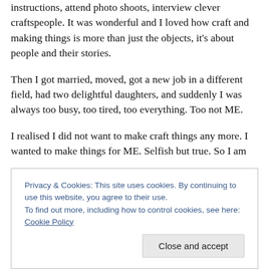instructions, attend photo shoots, interview clever craftspeople. It was wonderful and I loved how craft and making things is more than just the objects, it's about people and their stories.
Then I got married, moved, got a new job in a different field, had two delightful daughters, and suddenly I was always too busy, too tired, too everything. Too not ME.
I realised I did not want to make craft things any more. I wanted to make things for ME. Selfish but true. So I am
Privacy & Cookies: This site uses cookies. By continuing to use this website, you agree to their use.
To find out more, including how to control cookies, see here: Cookie Policy
Close and accept